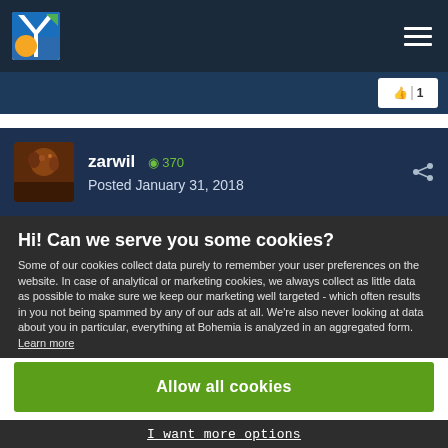[Figure (logo): Yellow/blue/orange Y logo icon in top nav bar]
zarwil  +370
Posted January 31, 2018
Hi! Can we serve you some cookies?
Some of our cookies collect data purely to remember your user preferences on the website. In case of analytical or marketing cookies, we always collect as little data as possible to make sure we keep our marketing well targeted - which often results in you not being spammed by any of our ads at all. We're also never looking at data about you in particular, everything at Bohemia is analyzed in an aggregated form. Learn more
Allow all cookies
I want more options